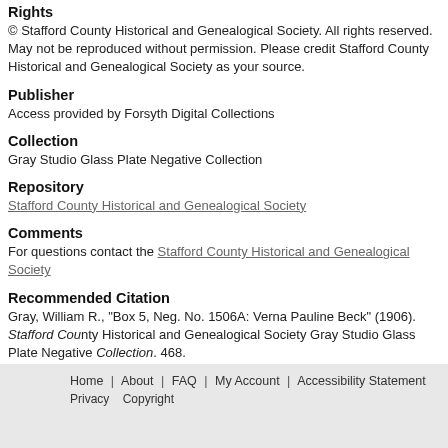Rights
© Stafford County Historical and Genealogical Society. All rights reserved. May not be reproduced without permission. Please credit Stafford County Historical and Genealogical Society as your source.
Publisher
Access provided by Forsyth Digital Collections
Collection
Gray Studio Glass Plate Negative Collection
Repository
Stafford County Historical and Genealogical Society
Comments
For questions contact the Stafford County Historical and Genealogical Society
Recommended Citation
Gray, William R., "Box 5, Neg. No. 1506A: Verna Pauline Beck" (1906). Stafford County Historical and Genealogical Society Gray Studio Glass Plate Negative Collection. 468.
https://scholars.fhsu.edu/stafford_county/468
Language
eng
Home | About | FAQ | My Account | Accessibility Statement Privacy Copyright